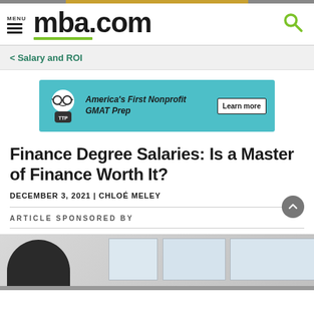mba.com
< Salary and ROI
[Figure (other): Advertisement banner for Target Test Prep — America's First Nonprofit GMAT Prep with a Learn more button]
Finance Degree Salaries: Is a Master of Finance Worth It?
DECEMBER 3, 2021 | CHLOÉ MELEY
ARTICLE SPONSORED BY
[Figure (photo): Business professional seated with office windows in background]